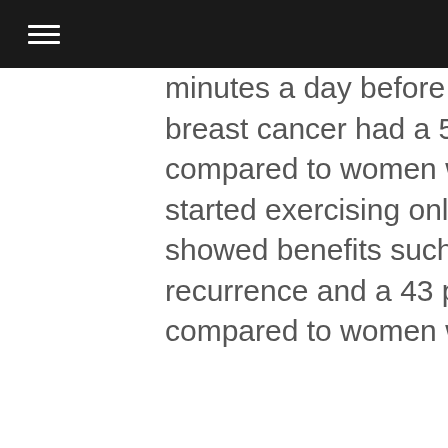minutes a day before and after being diagnosed with breast cancer had a 55 percent lower risk of recurrence compared to women who didn't. Even women who started exercising only after they finished treatment showed benefits such as a 46 percent lower risk of recurrence and a 43 percent lower risk of dying compared to women who were not exercising regularly.
But health and wellbeing may look different after breast cancer. Instead of taking yoga classes or doing a more traditional workout at the gym, survivors may seek unique exercise